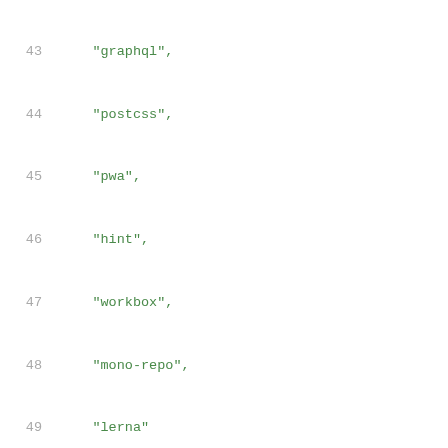43  "graphql",
44  "postcss",
45  "pwa",
46  "hint",
47  "workbox",
48  "mono-repo",
49  "lerna"
50  ],
51  "license": "Apache-2.0",
52  "repository": {
53    "type": "git",
54    "url": "git+https://github.com/leanup
55  },
56  "bugs": {
57    "url": "https://github.com/leanupjs/
58  },
59  "bin": {
60    "lean": "lib/cli.js",